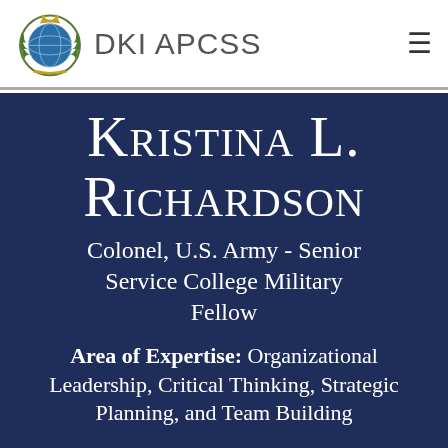DKI APCSS
Kristina L. Richardson
Colonel, U.S. Army - Senior Service College Military Fellow
Area of Expertise: Organizational Leadership, Critical Thinking, Strategic Planning, and Team Building